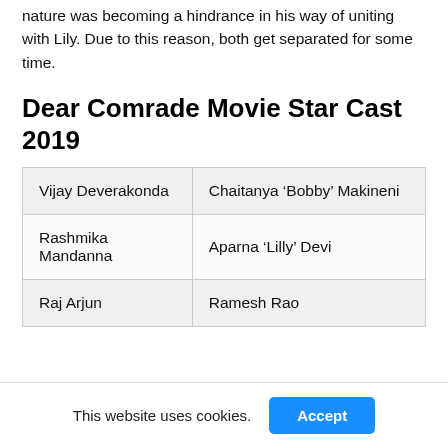nature was becoming a hindrance in his way of uniting with Lily. Due to this reason, both get separated for some time.
Dear Comrade Movie Star Cast 2019
| Vijay Deverakonda | Chaitanya ‘Bobby’ Makineni |
| Rashmika Mandanna | Aparna ‘Lilly’ Devi |
| Raj Arjun | Ramesh Rao |
This website uses cookies.